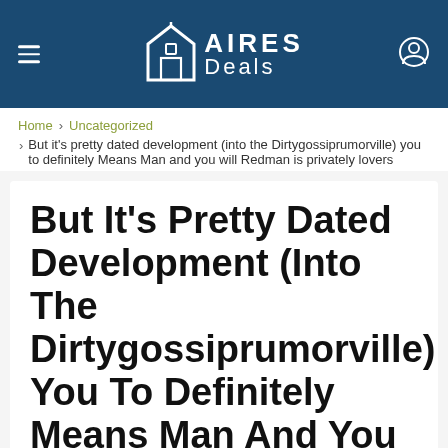AIRES Deals
Home > Uncategorized
But it's pretty dated development (into the Dirtygossiprumorville) you to definitely Means Man and you will Redman is privately lovers
But It's Pretty Dated Development (Into The Dirtygossiprumorville) You To Definitely Means Man And You Will Redman Is Privately Lovers